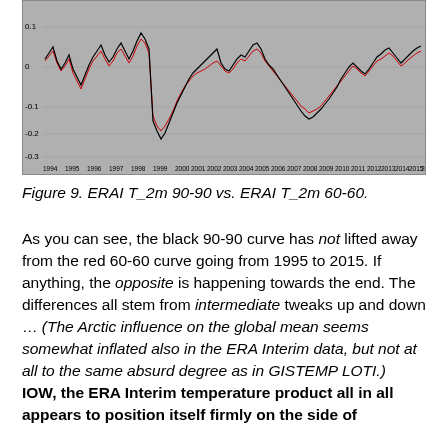[Figure (continuous-plot): Time series chart showing two overlapping curves (black and red) from 1994 to 2016, representing ERAI T_2m 90-90 (black) and ERAI T_2m 60-60 (red). Y-axis ranges from approximately -0.3 to 0.1. Grey background with fluctuating lines that closely track each other throughout the period.]
Figure 9. ERAI T_2m 90-90 vs. ERAI T_2m 60-60.
As you can see, the black 90-90 curve has not lifted away from the red 60-60 curve going from 1995 to 2015. If anything, the opposite is happening towards the end. The differences all stem from intermediate tweaks up and down … (The Arctic influence on the global mean seems somewhat inflated also in the ERA Interim data, but not at all to the same absurd degree as in GISTEMP LOTI.)
IOW, the ERA Interim temperature product all in all appears to position itself firmly on the side of HadCRU/S not GISTEMP LOTI — the debate to...